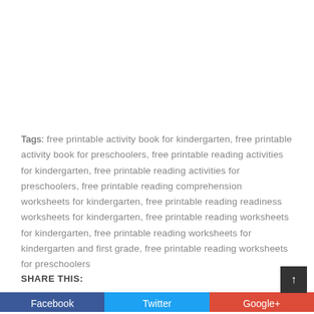Tags: free printable activity book for kindergarten, free printable activity book for preschoolers, free printable reading activities for kindergarten, free printable reading activities for preschoolers, free printable reading comprehension worksheets for kindergarten, free printable reading readiness worksheets for kindergarten, free printable reading worksheets for kindergarten, free printable reading worksheets for kindergarten and first grade, free printable reading worksheets for preschoolers
SHARE THIS:
Facebook   Twitter   Google+